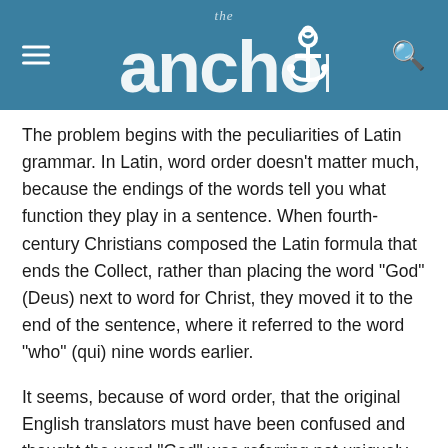the anchor
The problem begins with the peculiarities of Latin grammar. In Latin, word order doesn’t matter much, because the endings of the words tell you what function they play in a sentence. When fourth-century Christians composed the Latin formula that ends the Collect, rather than placing the word “God” (Deus) next to word for Christ, they moved it to the end of the sentence, where it referred to the word “who” (qui) nine words earlier.
It seems, because of word order, that the original English translators must have been confused and thought the word “God” was referring not uniquely to Christ, to the Father (“with You”) or to the Holy Spirit, but to their Trinitarian union. And because the words “Holy Spirit” come right before the word “God,” which in English would suggest that “God” refers